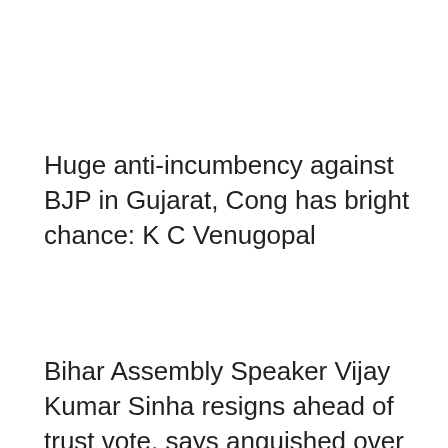Huge anti-incumbency against BJP in Gujarat, Cong has bright chance: K C Venugopal
Bihar Assembly Speaker Vijay Kumar Sinha resigns ahead of trust vote, says anguished over no-confidence motion against him